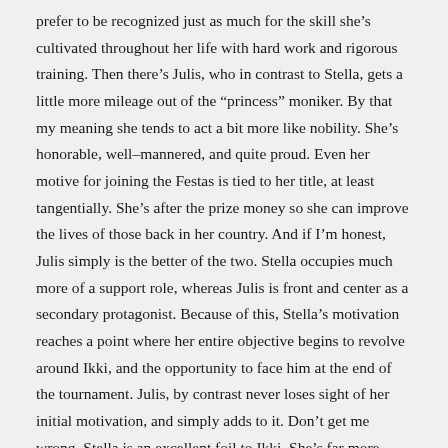prefer to be recognized just as much for the skill she's cultivated throughout her life with hard work and rigorous training. Then there's Julis, who in contrast to Stella, gets a little more mileage out of the "princess" moniker. By that my meaning she tends to act a bit more like nobility. She's honorable, well–mannered, and quite proud. Even her motive for joining the Festas is tied to her title, at least tangentially. She's after the prize money so she can improve the lives of those back in her country. And if I'm honest, Julis simply is the better of the two. Stella occupies much more of a support role, whereas Julis is front and center as a secondary protagonist. Because of this, Stella's motivation reaches a point where her entire objective begins to revolve around Ikki, and the opportunity to face him at the end of the tournament. Julis, by contrast never loses sight of her initial motivation, and simply adds to it. Don't get me wrong. Stella is an excellent foil to Ikki. She's far more supportive, and far more understanding of him and his situation, dominantly because of the similarity between them. But Julis simply does more on her own, and remains fairly consistent throughout. (and yes, I do know that Stella's prominence gets a bump in volumes of the manga that